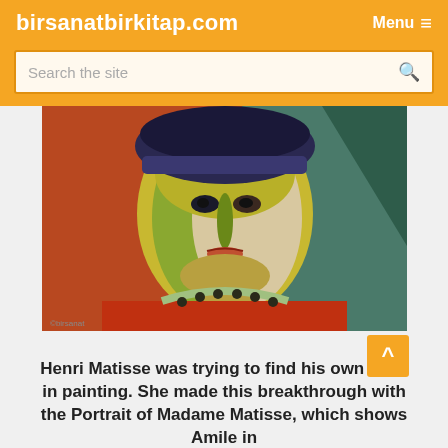birsanatbirkitap.com
Search the site
[Figure (photo): A Fauvist portrait painting showing a woman's face with bold, non-naturalistic colors. The face is painted in yellows and greens, set against a red and teal background. The woman wears a red garment with a dotted collar. This is the Portrait of Madame Matisse by Henri Matisse.]
Henri Matisse was trying to find his own style in painting. She made this breakthrough with the Portrait of Madame Matisse, which shows Amile in